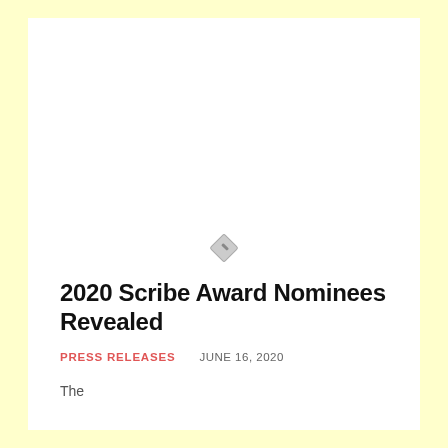[Figure (illustration): Small rotated diamond-shaped icon resembling a pen or pencil nib, gray colored]
2020 Scribe Award Nominees Revealed
PRESS RELEASES    JUNE 16, 2020
The